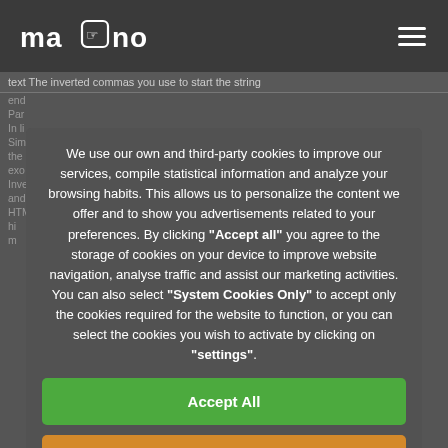[Figure (logo): Mano logo with hand icon and hamburger menu on dark nav bar]
We use our own and third-party cookies to improve our services, compile statistical information and analyze your browsing habits. This allows us to personalize the content we offer and to show you advertisements related to your preferences. By clicking "Accept all" you agree to the storage of cookies on your device to improve website navigation, analyse traffic and assist our marketing activities. You can also select "System Cookies Only" to accept only the cookies required for the website to function, or you can select the cookies you wish to activate by clicking on "settings".
Accept All
Only sistem cookies
Configuration